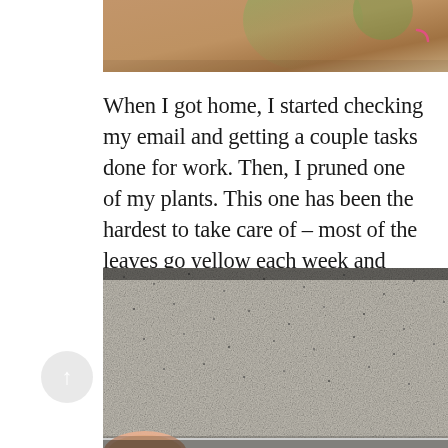[Figure (photo): Partial photo at top showing a wooden surface with a green plant, cropped. A pink/red loading spinner icon visible in top right corner.]
When I got home, I started checking my email and getting a couple tasks done for work. Then, I pruned one of my plants. This one has been the hardest to take care of – most of the leaves go yellow each week and then I prune and start over. I'm thinking it needs a bigger pot. Any tips?
[Figure (photo): Photo of beige/grey speckled carpet flooring taken from above, with a person's thumb visible at bottom left corner and a grey appliance or heater visible in the background upper right.]